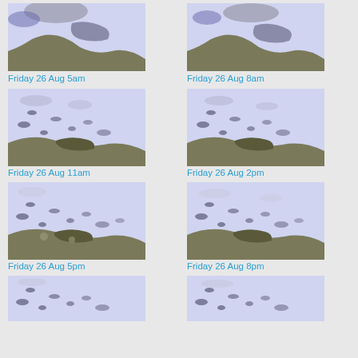[Figure (map): Weather map of Caribbean region showing cloud/precipitation patterns at Friday 26 Aug 5am]
Friday 26 Aug 5am
[Figure (map): Weather map of Caribbean region showing cloud/precipitation patterns at Friday 26 Aug 8am]
Friday 26 Aug 8am
[Figure (map): Weather map of Caribbean region showing cloud/precipitation patterns at Friday 26 Aug 11am]
Friday 26 Aug 11am
[Figure (map): Weather map of Caribbean region showing cloud/precipitation patterns at Friday 26 Aug 2pm]
Friday 26 Aug 2pm
[Figure (map): Weather map of Caribbean region showing cloud/precipitation patterns at Friday 26 Aug 5pm]
Friday 26 Aug 5pm
[Figure (map): Weather map of Caribbean region showing cloud/precipitation patterns at Friday 26 Aug 8pm]
Friday 26 Aug 8pm
[Figure (map): Weather map of Caribbean region showing cloud/precipitation patterns (bottom left, partially visible)]
[Figure (map): Weather map of Caribbean region showing cloud/precipitation patterns (bottom right, partially visible)]